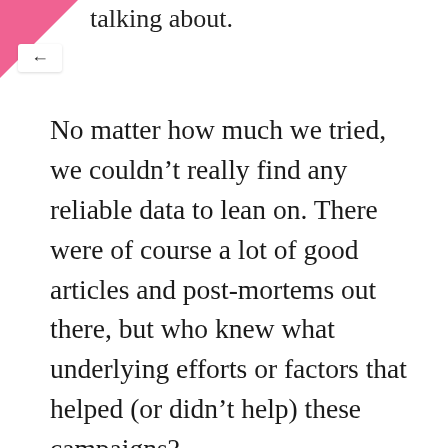talking about.
No matter how much we tried, we couldn’t really find any reliable data to lean on. There were of course a lot of good articles and post-mortems out there, but who knew what underlying efforts or factors that helped (or didn’t help) these campaigns?